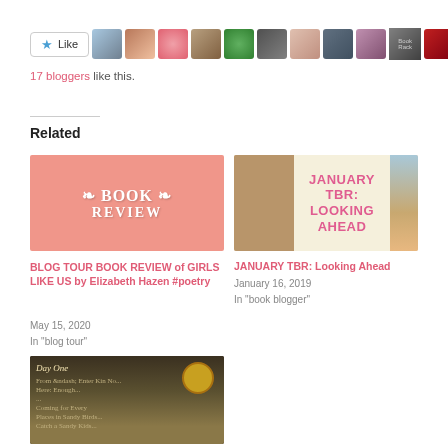[Figure (screenshot): Like button with star icon and avatar thumbnails of 11 bloggers]
17 bloggers like this.
Related
[Figure (illustration): Pink book review graphic with decorative text BOOK REVIEW]
BLOG TOUR BOOK REVIEW of GIRLS LIKE US by Elizabeth Hazen #poetry
May 15, 2020
In "blog tour"
[Figure (illustration): January TBR: Looking Ahead collage image with pink text on cream background]
JANUARY TBR: Looking Ahead
January 16, 2019
In "book blogger"
[Figure (illustration): Day One blog tour book collage with dark tree and book covers]